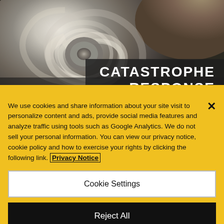[Figure (photo): Aerial satellite view of a hurricane/cyclone eye, showing swirling cloud formations over ocean and land. Dark overlay in lower right with white bold text reading CATASTROPHE RESPONSE.]
CATASTROPHE RESPONSE
We use cookies and share information about your site visit to personalize content and ads, provide social media features and analyze traffic using tools such as Google Analytics. We do not sell your personal information. You can view our privacy notice, cookie policy and how to exercise your rights by clicking the following link. Privacy Notice
Cookie Settings
Reject All
Accept Cookies